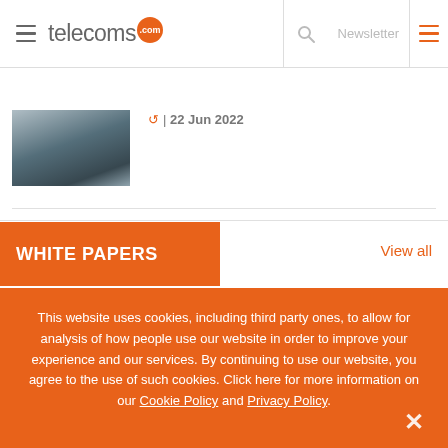telecoms.com | Newsletter
22 Jun 2022
WHITE PAPERS
View all
Mobile Cloud Gaming Report
This website uses cookies, including third party ones, to allow for analysis of how people use our website in order to improve your experience and our services. By continuing to use our website, you agree to the use of such cookies. Click here for more information on our Cookie Policy and Privacy Policy.